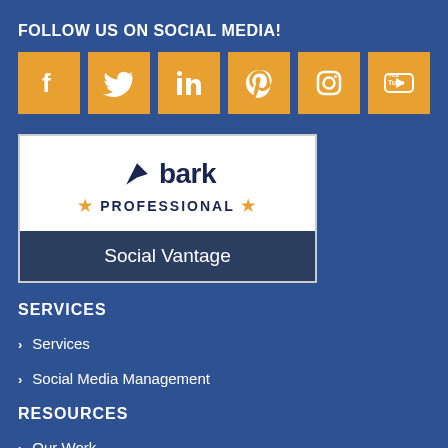FOLLOW US ON SOCIAL MEDIA!
[Figure (infographic): Six social media icon buttons (Facebook, Twitter, LinkedIn, Pinterest, Instagram, YouTube) in orange square tiles]
[Figure (logo): Bark Professional badge with Social Vantage company name]
SERVICES
Services
Social Media Management
RESOURCES
Our Work